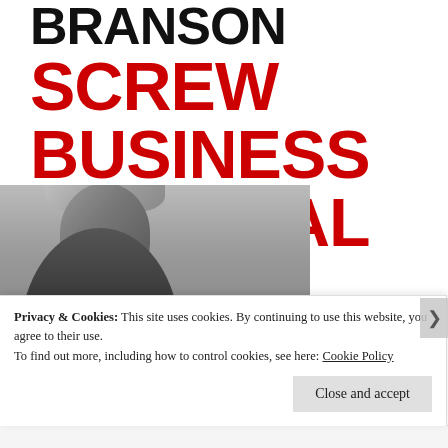BRANSON
SCREW BUSINESS AS USUAL
[Figure (photo): Black and white portrait photo of Richard Branson looking upward against a cloudy sky background]
Privacy & Cookies: This site uses cookies. By continuing to use this website, you agree to their use.
To find out more, including how to control cookies, see here: Cookie Policy
Close and accept